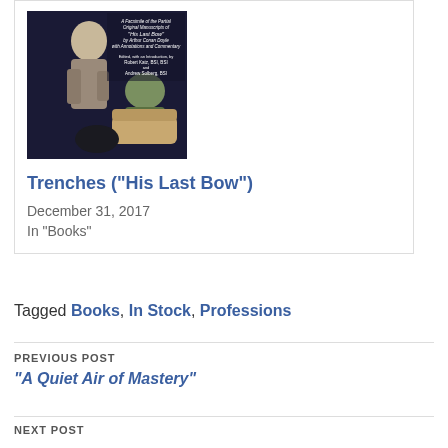[Figure (illustration): Book cover illustration showing a man in a coat in a dark scene with another figure, titled 'His Last Bow' by Arthur Conan Doyle, edited by Robert Katz and Andrew Solberg]
Trenches (“His Last Bow”)
December 31, 2017
In "Books"
Tagged Books, In Stock, Professions
PREVIOUS POST
“A Quiet Air of Mastery”
NEXT POST